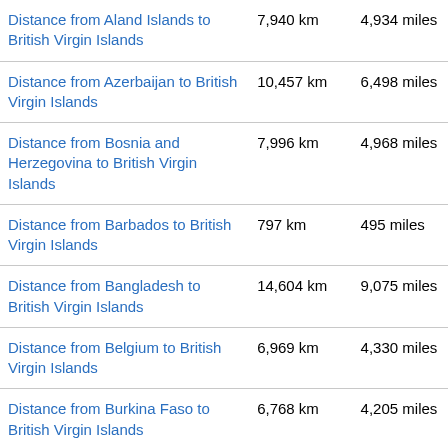| Route | km | miles |
| --- | --- | --- |
| Distance from Aland Islands to British Virgin Islands | 7,940 km | 4,934 miles |
| Distance from Azerbaijan to British Virgin Islands | 10,457 km | 6,498 miles |
| Distance from Bosnia and Herzegovina to British Virgin Islands | 7,996 km | 4,968 miles |
| Distance from Barbados to British Virgin Islands | 797 km | 495 miles |
| Distance from Bangladesh to British Virgin Islands | 14,604 km | 9,075 miles |
| Distance from Belgium to British Virgin Islands | 6,969 km | 4,330 miles |
| Distance from Burkina Faso to British Virgin Islands | 6,768 km | 4,205 miles |
| Distance from Bulgaria to British Virgin Islands | 8,641 km | 5,369 |